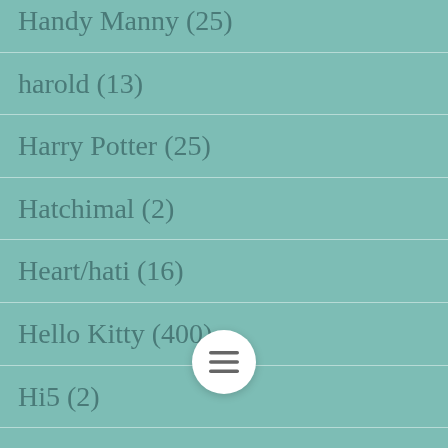Handy Manny (25)
harold (13)
Harry Potter (25)
Hatchimal (2)
Heart/hati (16)
Hello Kitty (400)
Hi5 (2)
High School Musical (10)
High School Musical, One Direction, Big